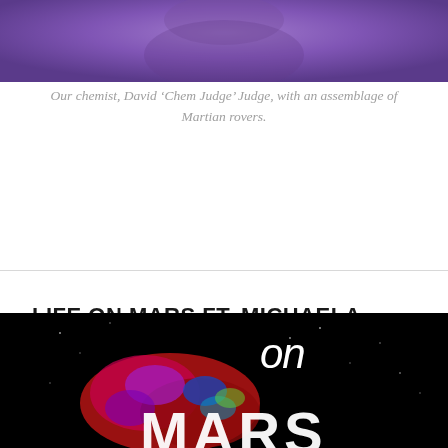[Figure (photo): Top portion of a photo showing a person with a purple/violet background and Martian rover models]
Our chemist, David ‘Chem Judge’ Judge, with an assemblage of Martian rovers.
LIFE ON MARS FT. MICHAELA MUSILOVA
POSTED BY JAMES RILEY ON JANUARY 10, 2015 IN PRESENTS — LEAVE A COMMENT
[Figure (photo): Black background image with colorful paint splatter and white text reading 'on MARS' — appears to be an album or event artwork for Life on Mars]